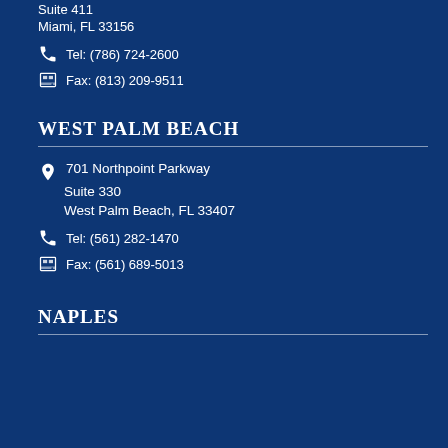Suite 411
Miami, FL 33156
Tel: (786) 724-2600
Fax: (813) 209-9511
WEST PALM BEACH
701 Northpoint Parkway
Suite 330
West Palm Beach, FL 33407
Tel: (561) 282-1470
Fax: (561) 689-5013
NAPLES